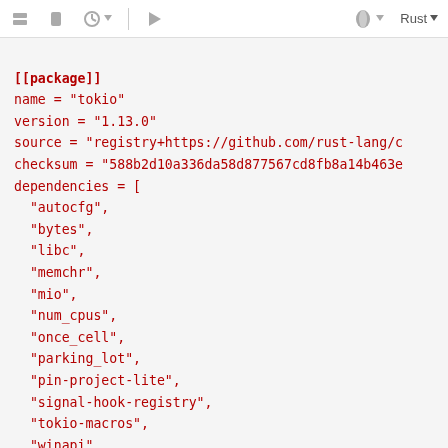toolbar with icons and Rust language label
[[package]]
name = "tokio"
version = "1.13.0"
source = "registry+https://github.com/rust-lang/c
checksum = "588b2d10a336da58d877567cd8fb8a14b463e
dependencies = [
  "autocfg",
  "bytes",
  "libc",
  "memchr",
  "mio",
  "num_cpus",
  "once_cell",
  "parking_lot",
  "pin-project-lite",
  "signal-hook-registry",
  "tokio-macros",
  "winapi",
]


[[package]]